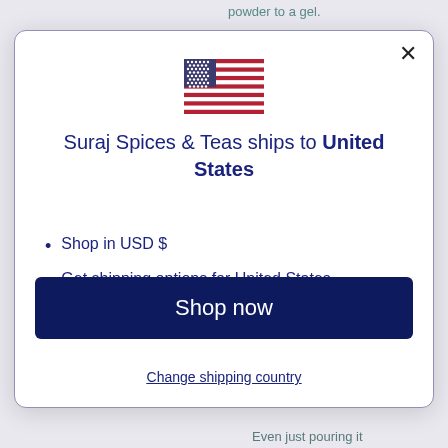powder to a gel.
[Figure (illustration): US flag SVG icon]
Suraj Spices & Teas ships to United States
Shop in USD $
Get shipping options for United States
Shop now
Change shipping country
Even just pouring it